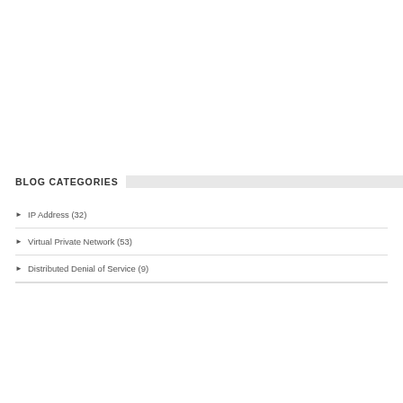BLOG CATEGORIES
IP Address (32)
Virtual Private Network (53)
Distributed Denial of Service (9)